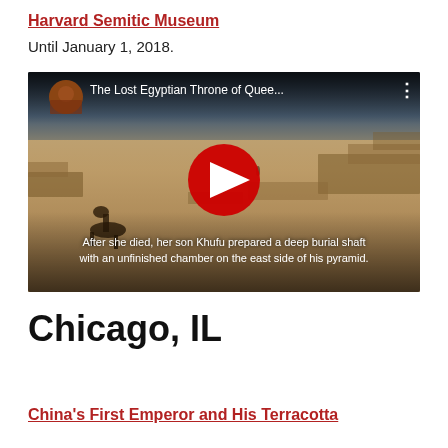Harvard Semitic Museum
Until January 1, 2018.
[Figure (screenshot): YouTube video thumbnail showing an aerial view of an Egyptian desert landscape with text overlay: 'The Lost Egyptian Throne of Quee...' and subtitle 'After she died, her son Khufu prepared a deep burial shaft with an unfinished chamber on the east side of his pyramid.' A red play button is visible in the center.]
Chicago, IL
China's First Emperor and His Terracotta